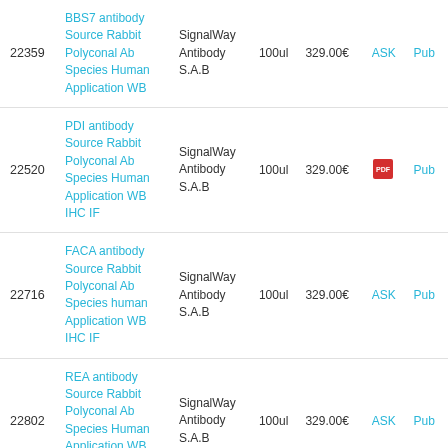| ID | Description | Brand | Size | Price | ASK | Pub |
| --- | --- | --- | --- | --- | --- | --- |
| 22359 | BBS7 antibody Source Rabbit Polyconal Ab Species Human Application WB | SignalWay Antibody S.A.B | 100ul | 329.00€ | ASK | Pub |
| 22520 | PDI antibody Source Rabbit Polyconal Ab Species Human Application WB IHC IF | SignalWay Antibody S.A.B | 100ul | 329.00€ | [pdf] | Pub |
| 22716 | FACA antibody Source Rabbit Polyconal Ab Species human Application WB IHC IF | SignalWay Antibody S.A.B | 100ul | 329.00€ | ASK | Pub |
| 22802 | REA antibody Source Rabbit Polyconal Ab Species Human Application WB IHC IF | SignalWay Antibody S.A.B | 100ul | 329.00€ | ASK | Pub |
| 22945 | beta-Adaptin antibody Source Rabbit Polyconal Ab Species Human Mouse Application WB | SignalWay Antibody S.A.B | 100ul | 329.00€ | ASK | Pub |
|  | Nanog Antibody |  |  |  |  |  |